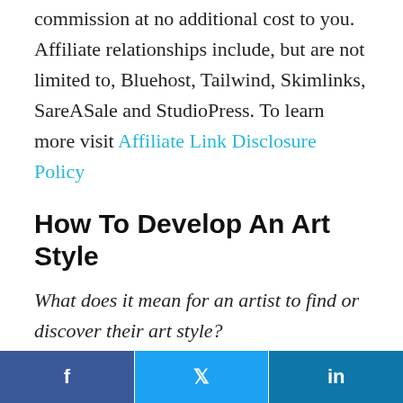commission at no additional cost to you. Affiliate relationships include, but are not limited to, Bluehost, Tailwind, Skimlinks, SareASale and StudioPress. To learn more visit Affiliate Link Disclosure Policy
How To Develop An Art Style
What does it mean for an artist to find or discover their art style?
f  [twitter bird]  in